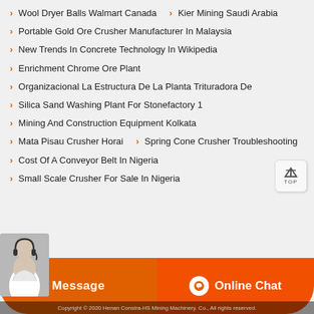Wool Dryer Balls Walmart Canada
Kier Mining Saudi Arabia
Portable Gold Ore Crusher Manufacturer In Malaysia
New Trends In Concrete Technology In Wikipedia
Enrichment Chrome Ore Plant
Organizacional La Estructura De La Planta Trituradora De
Silica Sand Washing Plant For Stonefactory 1
Mining And Construction Equipment Kolkata
Mata Pisau Crusher Horai
Spring Cone Crusher Troubleshooting
Cost Of A Conveyor Belt In Nigeria
Small Scale Crusher For Sale In Nigeria
Message   Online Chat
Copyright © 2020 Henan Constra-HS Mining Machinery. Co., All rights reserved.